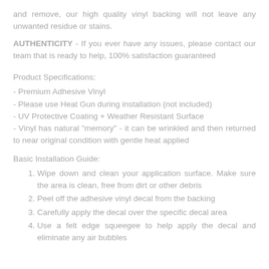and remove, our high quality vinyl backing will not leave any unwanted residue or stains.
AUTHENTICITY - If you ever have any issues, please contact our team that is ready to help, 100% satisfaction guaranteed
Product Specifications:
- Premium Adhesive Vinyl
- Please use Heat Gun during installation (not included)
- UV Protective Coating + Weather Resistant Surface
- Vinyl has natural "memory" - it can be wrinkled and then returned to near original condition with gentle heat applied
Basic Installation Guide:
1. Wipe down and clean your application surface. Make sure the area is clean, free from dirt or other debris
2. Peel off the adhesive vinyl decal from the backing
3. Carefully apply the decal over the specific decal area
4. Use a felt edge squeegee to help apply the decal and eliminate any air bubbles